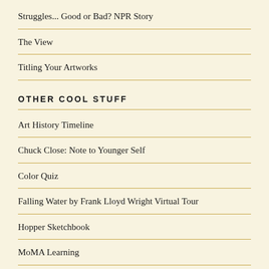Struggles... Good or Bad? NPR Story
The View
Titling Your Artworks
OTHER COOL STUFF
Art History Timeline
Chuck Close: Note to Younger Self
Color Quiz
Falling Water by Frank Lloyd Wright Virtual Tour
Hopper Sketchbook
MoMA Learning